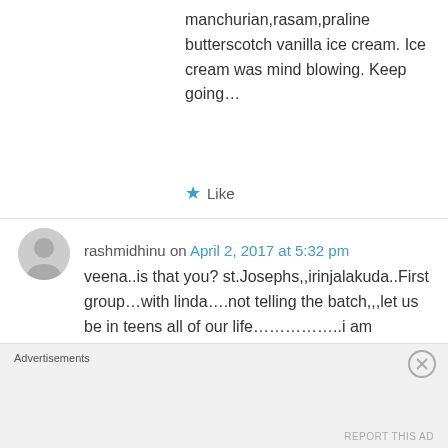manchurian,rasam,praline butterscotch vanilla ice cream. Ice cream was mind blowing. Keep going…
★ Like
rashmidhinu on April 2, 2017 at 5:32 pm
veena..is that you? st.Josephs,,irinjalakuda..First group…with linda….not telling the batch,,,let us be in teens all of our life……………..i am rashmi…from irinjalakuda..if that you,,say hai…i just found your videos,,wow,,simply wow
Advertisements
REPORT THIS AD